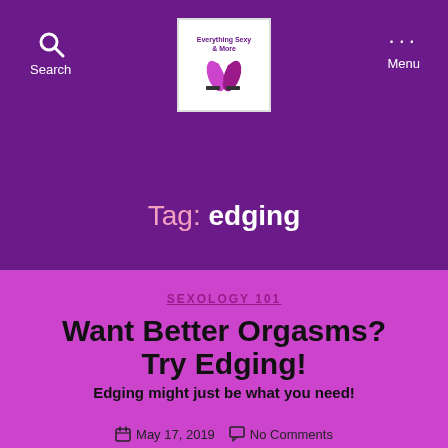Search  [logo]  Menu
Tag: edging
SEXOLOGY 101
Want Better Orgasms? Try Edging!
Edging might just be what you need!
May 17, 2019   No Comments